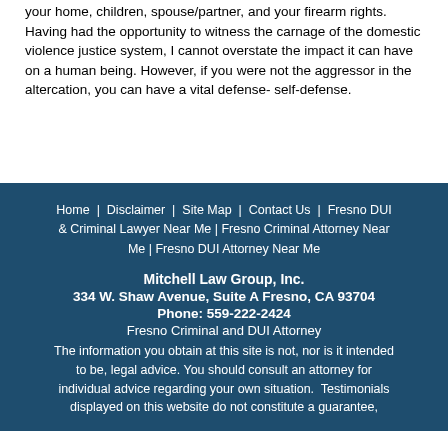your home, children, spouse/partner, and your firearm rights. Having had the opportunity to witness the carnage of the domestic violence justice system, I cannot overstate the impact it can have on a human being. However, if you were not the aggressor in the altercation, you can have a vital defense- self-defense.
Home | Disclaimer | Site Map | Contact Us | Fresno DUI & Criminal Lawyer Near Me | Fresno Criminal Attorney Near Me | Fresno DUI Attorney Near Me

Mitchell Law Group, Inc.
334 W. Shaw Avenue, Suite A Fresno, CA 93704
Phone: 559-222-2424
Fresno Criminal and DUI Attorney
The information you obtain at this site is not, nor is it intended to be, legal advice. You should consult an attorney for individual advice regarding your own situation. Testimonials displayed on this website do not constitute a guarantee,